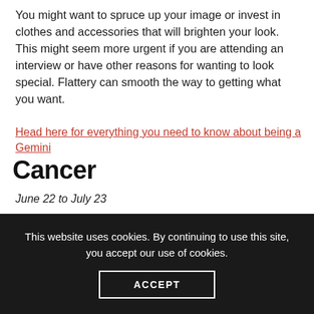You might want to spruce up your image or invest in clothes and accessories that will brighten your look. This might seem more urgent if you are attending an interview or have other reasons for wanting to look special. Flattery can smooth the way to getting what you want.
Head here for everything you need to know about being a Gemini
Cancer
June 22 to July 23
This website uses cookies. By continuing to use this site, you accept our use of cookies.
ACCEPT